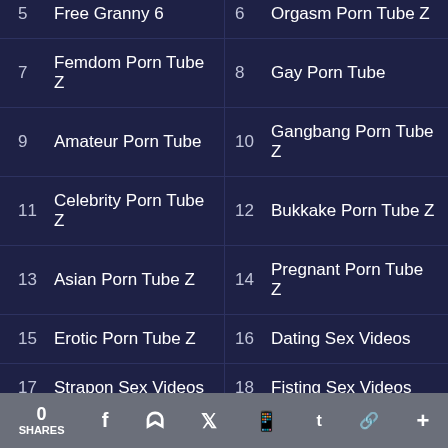5  Free Granny 6
6  Orgasm Porn Tube Z
7  Femdom Porn Tube Z
8  Gay Porn Tube
9  Amateur Porn Tube
10  Gangbang Porn Tube Z
11  Celebrity Porn Tube Z
12  Bukkake Porn Tube Z
13  Asian Porn Tube Z
14  Pregnant Porn Tube Z
15  Erotic Porn Tube Z
16  Dating Sex Videos
17  Strapon Sex Videos
18  Fisting Sex Videos
19  Facial Sex Videos
20  Bukkake Sex Videos
21  Cumshot Sex Videos
22  Webcam Porn Tube Z
0 SHARES  f  reddit  twitter  whatsapp  tumblr  link  +